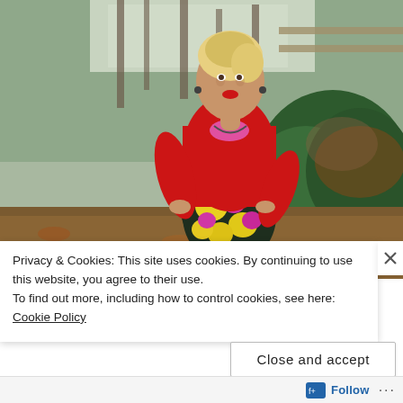[Figure (photo): A woman with blonde hair in an updo wearing a red V-neck sweater and a floral skirt with yellow and pink flowers stands outdoors in a garden area with bushes and trees in the background.]
Privacy & Cookies: This site uses cookies. By continuing to use this website, you agree to their use.
To find out more, including how to control cookies, see here: Cookie Policy
Close and accept